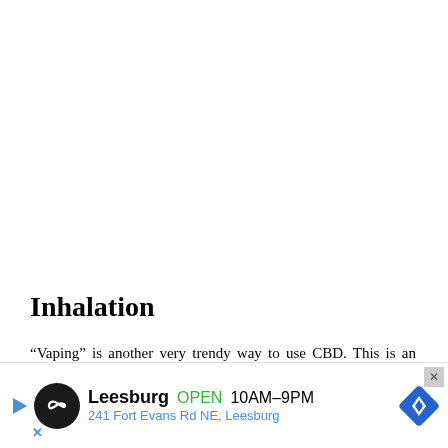Inhalation
“Vaping” is another very trendy way to use CBD. This is an area I suggest you use an immense amount of precaution. Personally, I am not a fan of inhaling concentrates or oils… [“inhaling”]. A growing number of cases of conta… are
[Figure (other): Advertisement overlay for a Leesburg business showing logo, OPEN status, hours 10AM-9PM, and address 241 Fort Evans Rd NE, Leesburg, with navigation diamond icon and close button.]